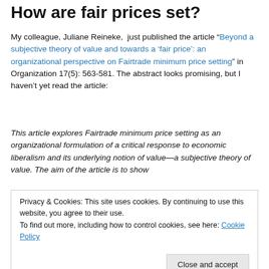How are fair prices set?
My colleague, Juliane Reineke,  just published the article “Beyond a subjective theory of value and towards a ‘fair price’: an organizational perspective on Fairtrade minimum price setting” in Organization 17(5): 563-581. The abstract looks promising, but I haven’t yet read the article:
This article explores Fairtrade minimum price setting as an organizational formulation of a critical response to economic liberalism and its underlying notion of value—a subjective theory of value. The aim of the article is to show
Privacy & Cookies: This site uses cookies. By continuing to use this website, you agree to their use.
To find out more, including how to control cookies, see here: Cookie Policy
The case unpacks the complexities of defining a ‘fair’ price